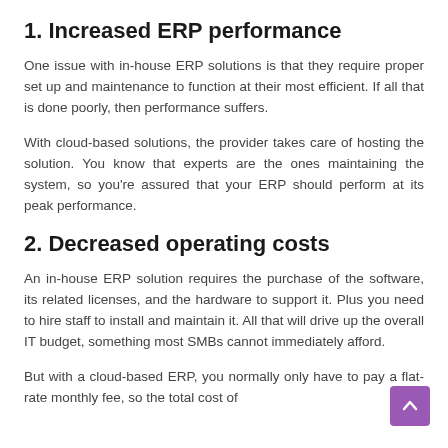1. Increased ERP performance
One issue with in-house ERP solutions is that they require proper set up and maintenance to function at their most efficient. If all that is done poorly, then performance suffers.
With cloud-based solutions, the provider takes care of hosting the solution. You know that experts are the ones maintaining the system, so you're assured that your ERP should perform at its peak performance.
2. Decreased operating costs
An in-house ERP solution requires the purchase of the software, its related licenses, and the hardware to support it. Plus you need to hire staff to install and maintain it. All that will drive up the overall IT budget, something most SMBs cannot immediately afford.
But with a cloud-based ERP, you normally only have to pay a flat-rate monthly fee, so the total cost of